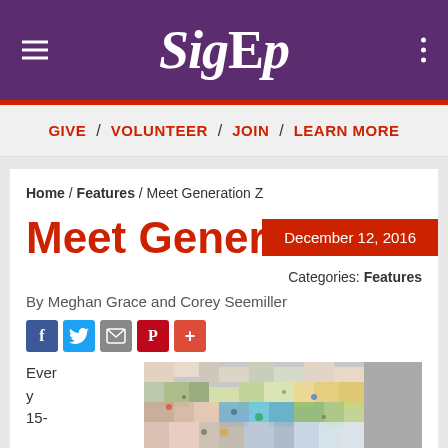SigEp
GIVE / VOLUNTEER / JOIN / LEARN MORE
Home / Features / Meet Generation Z
December 12, 2016
Meet Generation Z
Categories: Features
By Meghan Grace and Corey Seemiller
Every 15-
[Figure (photo): Colorful collage/mosaic image used as article illustration]